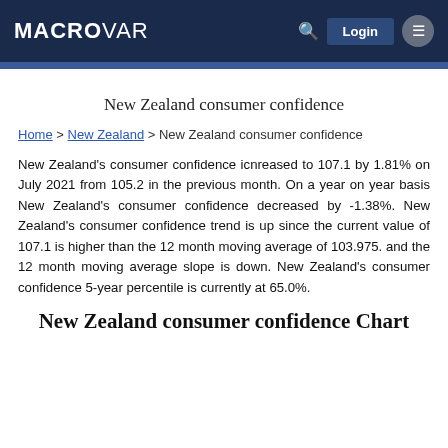MACROVAR
New Zealand consumer confidence
Home > New Zealand > New Zealand consumer confidence
New Zealand's consumer confidence icnreased to 107.1 by 1.81% on July 2021 from 105.2 in the previous month. On a year on year basis New Zealand's consumer confidence decreased by -1.38%. New Zealand's consumer confidence trend is up since the current value of 107.1 is higher than the 12 month moving average of 103.975. and the 12 month moving average slope is down. New Zealand's consumer confidence 5-year percentile is currently at 65.0%.
New Zealand consumer confidence Chart